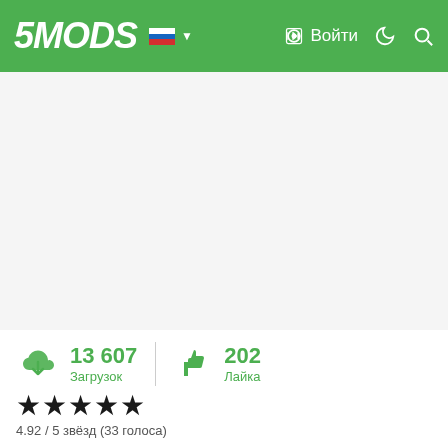5MODS — Войти
[Figure (other): Advertisement/banner area (gray background, empty)]
13 607 Загрузок  202 Лайка
★★★★★
4.92 / 5 звёзд (33 голоса)
INJURED RAGDOLL ENHANCED
This scripts makes the player's character to go on ragdoll when he/she gets shot. Some scripts do actually the same as this one does, but Injured Ragdoll Enhanced includes several options you can configure, to customize and optimize your own ragdoll & realism experience.